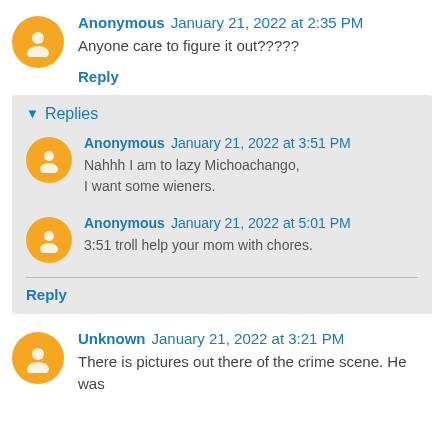Anonymous January 21, 2022 at 2:35 PM
Anyone care to figure it out?????
Reply
Replies
Anonymous January 21, 2022 at 3:51 PM
Nahhh I am to lazy Michoachango, I want some wieners.
Anonymous January 21, 2022 at 5:01 PM
3:51 troll help your mom with chores.
Reply
Unknown January 21, 2022 at 3:21 PM
There is pictures out there of the crime scene. He was